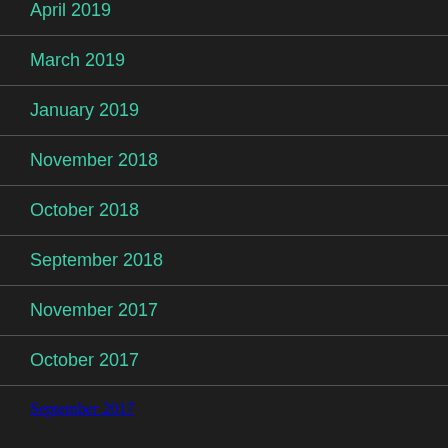April 2019
March 2019
January 2019
November 2018
October 2018
September 2018
November 2017
October 2017
September 2017